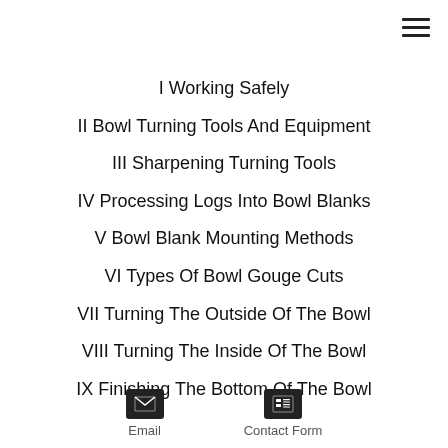I Working Safely
II Bowl Turning Tools And Equipment
III Sharpening Turning Tools
IV Processing Logs Into Bowl Blanks
V Bowl Blank Mounting Methods
VI Types Of Bowl Gouge Cuts
VII Turning The Outside Of The Bowl
VIII Turning The Inside Of The Bowl
IX Finishing The Bottom Of The Bowl
Email   Contact Form